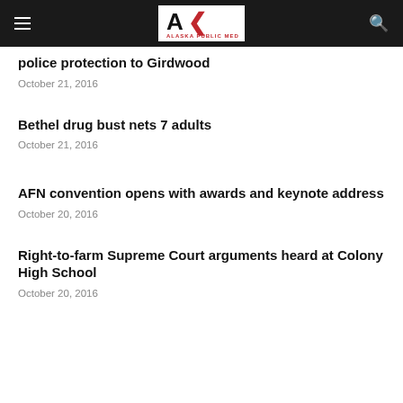Alaska Public Media
police protection to Girdwood
October 21, 2016
Bethel drug bust nets 7 adults
October 21, 2016
AFN convention opens with awards and keynote address
October 20, 2016
Right-to-farm Supreme Court arguments heard at Colony High School
October 20, 2016